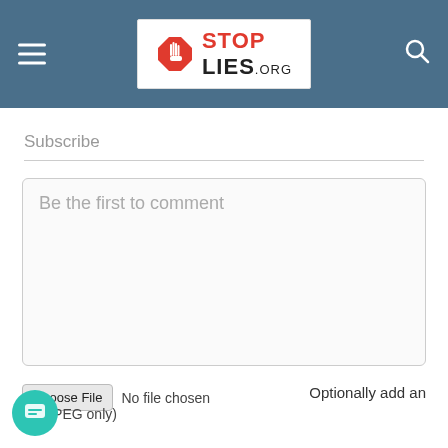[Figure (logo): StopLies.org logo with stop sign icon and site name, shown in a white box on a steel-blue navigation bar with hamburger menu and search icon]
Subscribe
Be the first to comment
Choose File   No file chosen   Optionally add an image (JPEG only)